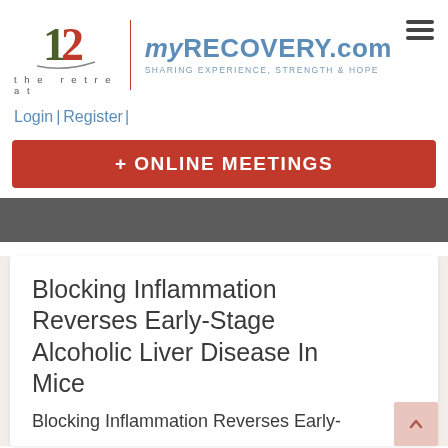[Figure (logo): The Retreat logo with stylized '12' monogram above text 'the retreat', with vertical red divider line, myRECOVERY.com site name, and 'SHARING EXPERIENCE, STRENGTH & HOPE' tagline, plus hamburger menu icon]
Login | Register |
+ ONLINE MEETINGS
Blocking Inflammation Reverses Early-Stage Alcoholic Liver Disease In Mice
Blocking Inflammation Reverses Early-